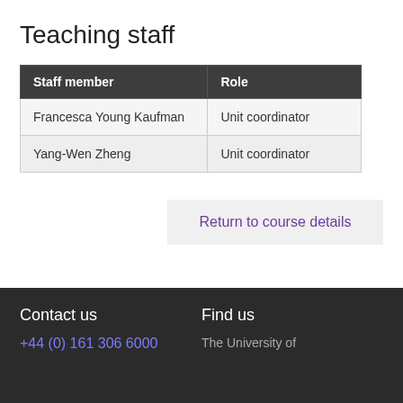Teaching staff
| Staff member | Role |
| --- | --- |
| Francesca Young Kaufman | Unit coordinator |
| Yang-Wen Zheng | Unit coordinator |
Return to course details
Contact us
+44 (0) 161 306 6000
Find us
The University of